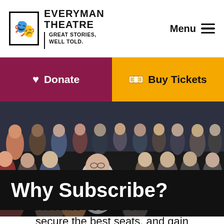EVERYMAN THEATRE | GREAT STORIES, WELL TOLD.
Menu
Donate
Buy Tickets
[Figure (photo): Audience members seated and standing in a theatre lobby or seating area, photographed in low light]
Why Subscribe?
Subscribe TODAY! Save money, secure the best seats, and gain